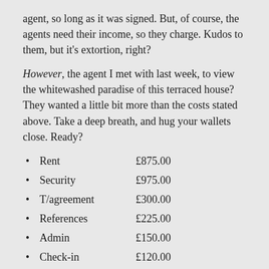agent, so long as it was signed. But, of course, the agents need their income, so they charge. Kudos to them, but it's extortion, right?
However, the agent I met with last week, to view the whitewashed paradise of this terraced house? They wanted a little bit more than the costs stated above. Take a deep breath, and hug your wallets close. Ready?
Rent   £875.00
Security   £975.00
T/agreement   £300.00
References   £225.00
Admin   £150.00
Check-in   £120.00
Guarantor chk   £100.00